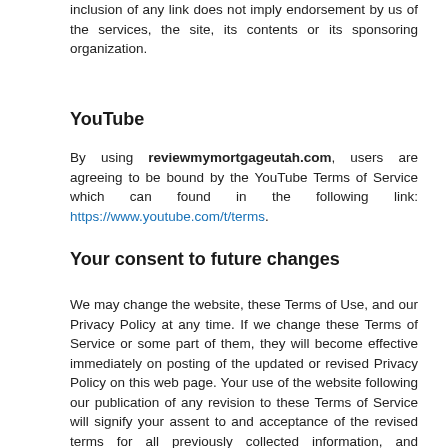inclusion of any link does not imply endorsement by us of the services, the site, its contents or its sponsoring organization.
YouTube
By using reviewmymortgageutah.com, users are agreeing to be bound by the YouTube Terms of Service which can found in the following link: https://www.youtube.com/t/terms.
Your consent to future changes
We may change the website, these Terms of Use, and our Privacy Policy at any time. If we change these Terms of Service or some part of them, they will become effective immediately on posting of the updated or revised Privacy Policy on this web page. Your use of the website following our publication of any revision to these Terms of Service will signify your assent to and acceptance of the revised terms for all previously collected information, and information collected from you in the future.   Should you wish to opt-out of such future changes, you must communicate your request to opt-out to us in writing, either by email at postmaster@cincpro.com or at this address: 300 Galleria Pkwy SE, Suite 1500, Atlanta, GA 30339. In the event you opt-out, our agreement